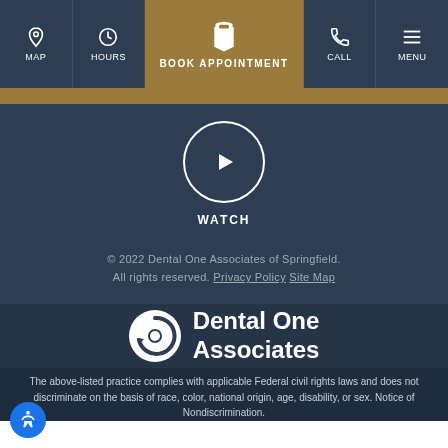MAP | HOURS | BOOK APPOINTMENT | CALL | MENU
[Figure (logo): YouTube play button icon in white circle labeled WATCH]
WATCH
© 2022 Dental One Associates of Springfield. All rights reserved. Privacy Policy  Site Map
[Figure (logo): Dental One Associates logo with circular tooth icon and white bold text]
The above-listed practice complies with applicable Federal civil rights laws and does not discriminate on the basis of race, color, national origin, age, disability, or sex. Notice of Nondiscrimination.